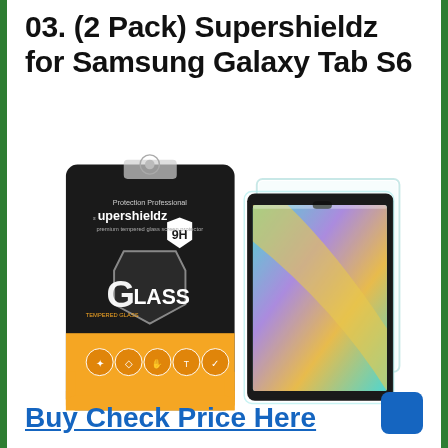03. (2 Pack) Supershieldz for Samsung Galaxy Tab S6
[Figure (photo): Product photo showing Supershieldz 9H tempered glass screen protector in packaging (black and orange box with glass shield graphic) next to two screen protectors applied to Samsung Galaxy Tab S6 tablets]
Buy Check Price Here